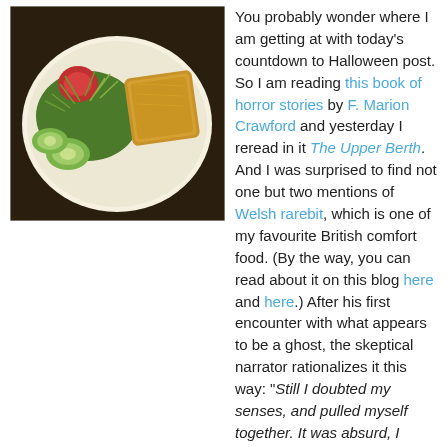[Figure (photo): A plate of food on a white plate — Welsh rarebit (grilled cheese toast) with a side salad including tomato, cucumber, and mixed greens/sprouts, on a yellow-toned background.]
You probably wonder where I am getting at with today's countdown to Halloween post. So I am reading this book of horror stories by F. Marion Crawford and yesterday I reread in it The Upper Berth. And I was surprised to find not one but two mentions of Welsh rarebit, which is one of my favourite British comfort food. (By the way, you can read about it on this blog here and here.) After his first encounter with what appears to be a ghost, the skeptical narrator rationalizes it this way: "Still I doubted my senses, and pulled myself together. It was absurd, I thought. The Welsh rarebit I had eaten had disagreed with me. I had been in a nightmare." And then, before further investigating the matter, he says this: "I abstained from Welsh rarebits and grog that evening, and did not even join in the customary game of whist. I wanted to be quite sure of my nerves, and my vanity made me anxious